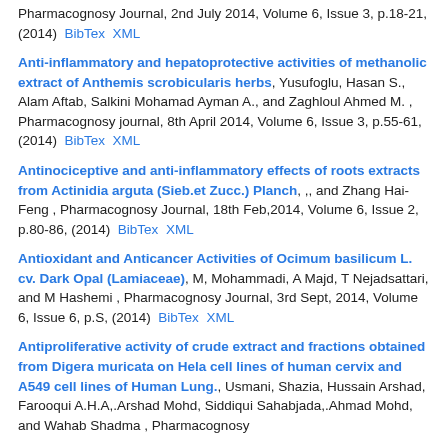Pharmacognosy Journal, 2nd July 2014, Volume 6, Issue 3, p.18-21, (2014)  BibTex  XML
Anti-inflammatory and hepatoprotective activities of methanolic extract of Anthemis scrobicularis herbs, Yusufoglu, Hasan S., Alam Aftab, Salkini Mohamad Ayman A., and Zaghloul Ahmed M. , Pharmacognosy journal, 8th April 2014, Volume 6, Issue 3, p.55-61, (2014)  BibTex  XML
Antinociceptive and anti-inflammatory effects of roots extracts from Actinidia arguta (Sieb.et Zucc.) Planch, ,, and Zhang Hai-Feng , Pharmacognosy Journal, 18th Feb,2014, Volume 6, Issue 2, p.80-86, (2014)  BibTex  XML
Antioxidant and Anticancer Activities of Ocimum basilicum L. cv. Dark Opal (Lamiaceae), M, Mohammadi, A Majd, T Nejadsattari, and M Hashemi , Pharmacognosy Journal, 3rd Sept, 2014, Volume 6, Issue 6, p.S, (2014)  BibTex  XML
Antiproliferative activity of crude extract and fractions obtained from Digera muricata on Hela cell lines of human cervix and A549 cell lines of Human Lung., Usmani, Shazia, Hussain Arshad, Farooqui A.H.A,.Arshad Mohd, Siddiqui Sahabjada,.Ahmad Mohd, and Wahab Shadma , Pharmacognosy